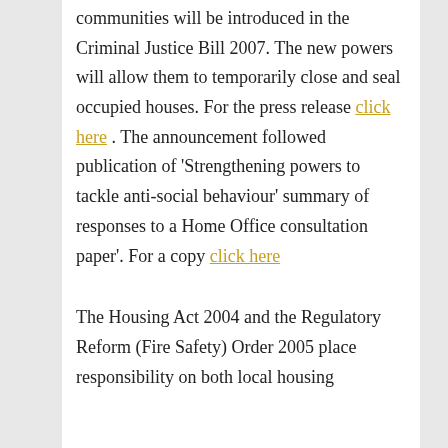communities will be introduced in the Criminal Justice Bill 2007. The new powers will allow them to temporarily close and seal occupied houses. For the press release click here . The announcement followed publication of 'Strengthening powers to tackle anti-social behaviour' summary of responses to a Home Office consultation paper'. For a copy click here
The Housing Act 2004 and the Regulatory Reform (Fire Safety) Order 2005 place responsibility on both local housing